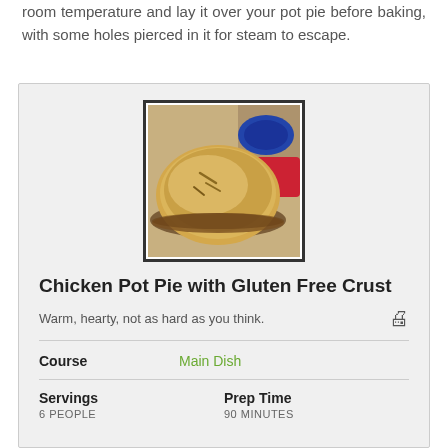room temperature and lay it over your pot pie before baking, with some holes pierced in it for steam to escape.
[Figure (photo): A baked chicken pot pie with golden-brown crust in a pie dish, with slits on top, on a table with colorful plates in the background.]
Chicken Pot Pie with Gluten Free Crust
Warm, hearty, not as hard as you think.
| Course |  |
| --- | --- |
| Course | Main Dish |
| Servings | Prep Time |
| --- | --- |
| 6 PEOPLE | 90 MINUTES |